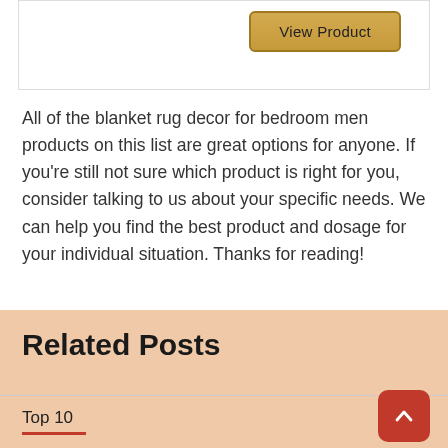[Figure (screenshot): Top portion of a product card with a golden 'View Product' button in the upper right corner]
All of the blanket rug decor for bedroom men products on this list are great options for anyone. If you’re still not sure which product is right for you, consider talking to us about your specific needs. We can help you find the best product and dosage for your individual situation. Thanks for reading!
Related Posts
Top 10